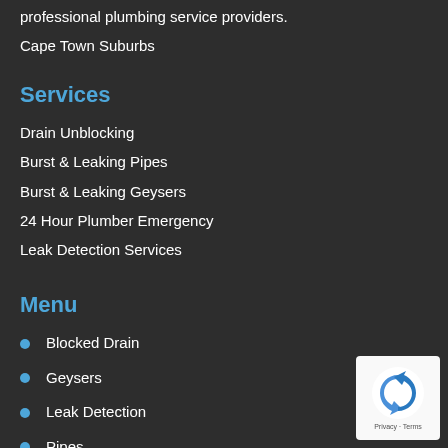professional plumbing service providers.
Cape Town Suburbs
Services
Drain Unblocking
Burst & Leaking Pipes
Burst & Leaking Geysers
24 Hour Plumber Emergency
Leak Detection Services
Menu
Blocked Drain
Geysers
Leak Detection
Pipes
Sitemap
[Figure (logo): reCAPTCHA logo with Privacy and Terms text]